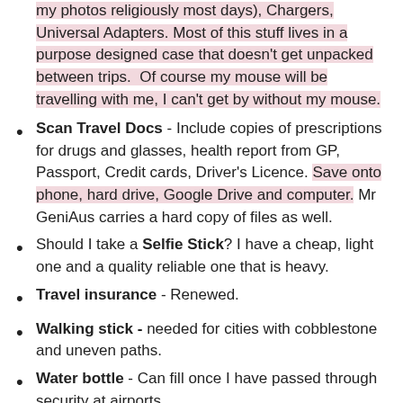my photos religiously most days), Chargers, Universal Adapters. Most of this stuff lives in a purpose designed case that doesn't get unpacked between trips.  Of course my mouse will be travelling with me, I can't get by without my mouse.
Scan Travel Docs - Include copies of prescriptions for drugs and glasses, health report from GP, Passport, Credit cards, Driver's Licence. Save onto phone, hard drive, Google Drive and computer. Mr GeniAus carries a hard copy of files as well.
Should I take a Selfie Stick? I have a cheap, light one and a quality reliable one that is heavy.
Travel insurance - Renewed.
Walking stick - needed for cities with cobblestone and uneven paths.
Water bottle - Can fill once I have passed through security at airports.